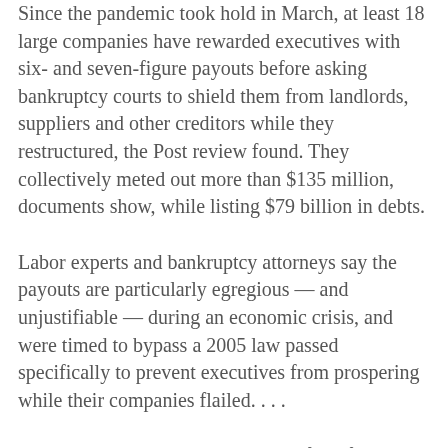Since the pandemic took hold in March, at least 18 large companies have rewarded executives with six- and seven-figure payouts before asking bankruptcy courts to shield them from landlords, suppliers and other creditors while they restructured, the Post review found. They collectively meted out more than $135 million, documents show, while listing $79 billion in debts.
Labor experts and bankruptcy attorneys say the payouts are particularly egregious — and unjustifiable — during an economic crisis, and were timed to bypass a 2005 law passed specifically to prevent executives from prospering while their companies flailed. . . .
Chuck E. Cheese's parent company filed for bankruptcy, citing $2 billion in debt. But first it awarded nearly $3 million in bonuses to top executives, including $1.3 million to chief executive David McKillips, who had been with the company less than five months.